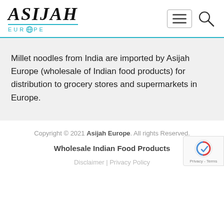[Figure (logo): Asijah Europe logo with stylized italic serif text 'ASIJAH' and 'EUROPE' subtitle with a globe icon, in black and teal/cyan colors]
Millet noodles from India are imported by Asijah Europe (wholesale of Indian food products) for distribution to grocery stores and supermarkets in Europe.
Copyright © 2021 Asijah Europe. All rights Reserved.
Wholesale Indian Food Products
Disclaimer | Privacy Policy